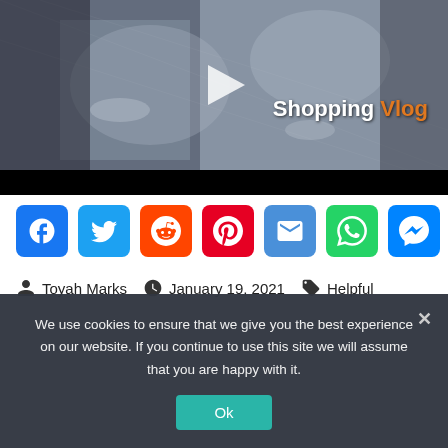[Figure (screenshot): Video thumbnail showing a person holding up distressed jeans, with 'Shopping Vlog' text overlay — white for 'Shopping', orange for 'Vlog' — and a play button. The bottom portion is a black video control bar.]
[Figure (infographic): Row of 8 social sharing icon buttons: Facebook (blue), Twitter (light blue), Reddit (orange), Pinterest (red), Email (blue), WhatsApp (green), Messenger (blue), Telegram (light blue).]
Toyah Marks  January 19, 2021  Helpful
We use cookies to ensure that we give you the best experience on our website. If you continue to use this site we will assume that you are happy with it.